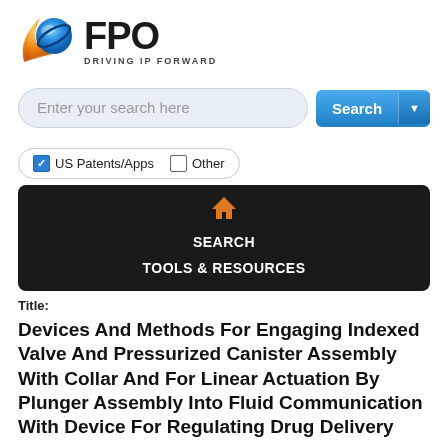[Figure (logo): FPO logo with blue/orange sphere icon and text 'FPO DRIVING IP FORWARD']
[Figure (screenshot): Search bar with placeholder 'Enter your search here' and blue Search button with dropdown arrow]
[Figure (screenshot): Checkbox row: checked 'US Patents/Apps' and unchecked 'Other']
[Figure (screenshot): Black navigation bar with home icon, SEARCH and TOOLS & RESOURCES links]
Title:
Devices And Methods For Engaging Indexed Valve And Pressurized Canister Assembly With Collar And For Linear Actuation By Plunger Assembly Into Fluid Communication With Device For Regulating Drug Delivery